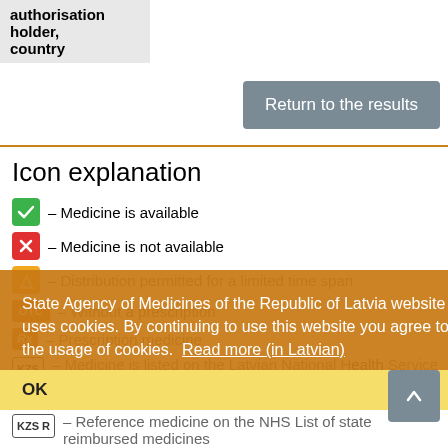| authorisation holder, country |
| --- |
Return to the results
Icon explanation
✓ – Medicine is available
✗ – Medicine is not available
⚠ – Distribution permitted for a limited time span
OTC – Without a prescription
Rx – Prescription medicine
KZS – Medicine is listed on the Latvian National Health Service (NHS) list of state reimbursed medicines. (source of the information – the NHS)
KZS R – Reference medicine on the NHS List of state reimbursed medicines
KZS L – Lowest cost medicine within its therapeutic
State Agency of Medicines of the Republic of Latvia website uses cookies. By continuing to use this website you agree to the usage of cookies. Read more (in Latvian)
OK